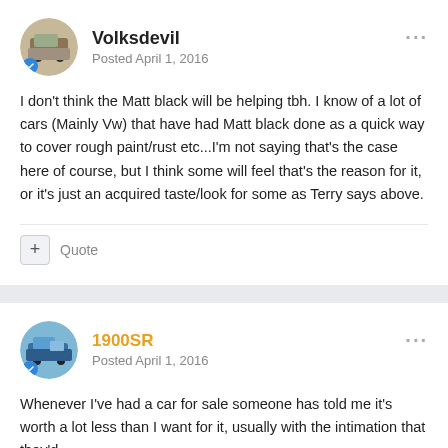Volksdevil
Posted April 1, 2016
I don't think the Matt black will be helping tbh. I know of a lot of cars (Mainly Vw) that have had Matt black done as a quick way to cover rough paint/rust etc...I'm not saying that's the case here of course, but I think some will feel that's the reason for it, or it's just an acquired taste/look for some as Terry says above.
+ Quote
1900SR
Posted April 1, 2016
Whenever I've had a car for sale someone has told me it's worth a lot less than I want for it, usually with the intimation that they'd